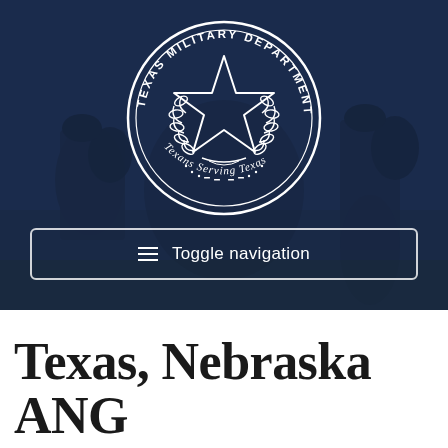[Figure (logo): Texas Military Department official seal — circular seal with star and laurel wreath, text reading 'TEXAS MILITARY DEPARTMENT' around the top arc and 'Texans Serving Texas' along the bottom arc, on a dark blue background with soldiers silhouettes]
Toggle navigation
Texas, Nebraska ANG